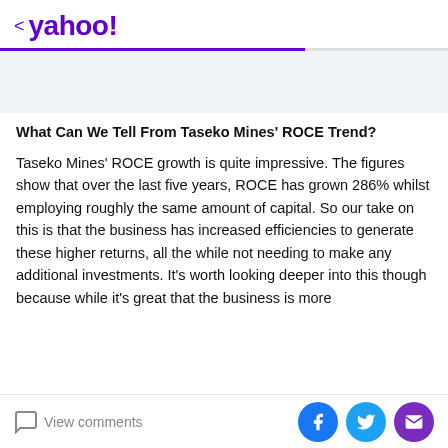< yahoo!
What Can We Tell From Taseko Mines' ROCE Trend?
Taseko Mines' ROCE growth is quite impressive. The figures show that over the last five years, ROCE has grown 286% whilst employing roughly the same amount of capital. So our take on this is that the business has increased efficiencies to generate these higher returns, all the while not needing to make any additional investments. It's worth looking deeper into this though because while it's great that the business is more efficient, it also means there are fewer opportunities for capital reinvestment.
View comments